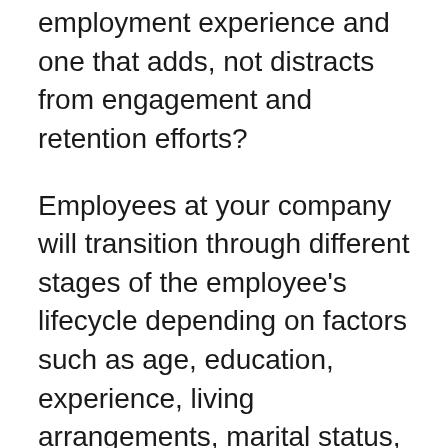employment experience and one that adds, not distracts from engagement and retention efforts?
Employees at your company will transition through different stages of the employee's lifecycle depending on factors such as age, education, experience, living arrangements, marital status, etc. It is important to understand how important these ‘moments of truths’ are to employees and to realise which ones if not handled well, can be deal breakers and result in employees seeking another place to work whilst being unconsciously unproductive in their current role. It is important to make adjustments